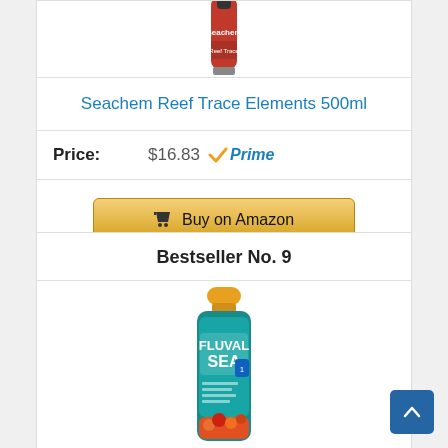[Figure (photo): Partial view of Seachem product bottle top, cut off at the top of the page]
Seachem Reef Trace Elements 500ml
Price: $16.83 Prime
Buy on Amazon
Bestseller No. 9
[Figure (photo): Fluval Sea product bottle with teal label and orange cap]